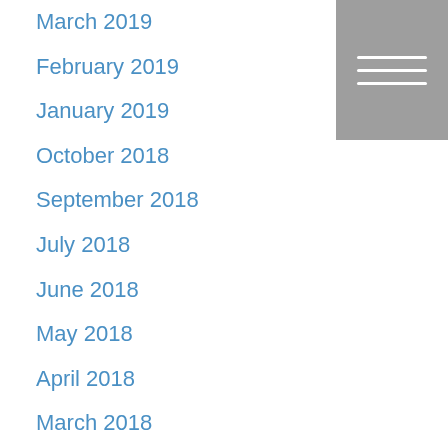March 2019
February 2019
January 2019
October 2018
September 2018
July 2018
June 2018
May 2018
April 2018
March 2018
February 2018
January 2018
December 2017
November 2017
October 2017